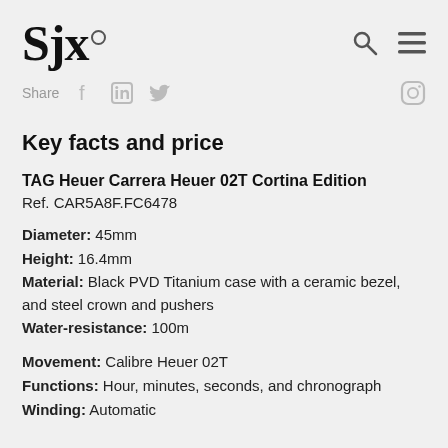SJx.
Share
Key facts and price
TAG Heuer Carrera Heuer 02T Cortina Edition
Ref. CAR5A8F.FC6478
Diameter: 45mm
Height: 16.4mm
Material: Black PVD Titanium case with a ceramic bezel, and steel crown and pushers
Water-resistance: 100m
Movement: Calibre Heuer 02T
Functions: Hour, minutes, seconds, and chronograph
Winding: Automatic